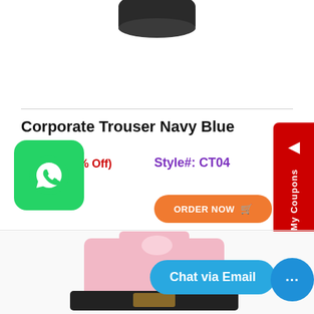[Figure (photo): Partial view of a product (shoe/clothing) at the top of the page, cropped]
Corporate Trouser Navy Blue
$23.98 (17 % Off)
Style#: CT04
ORDER NOW
[Figure (logo): WhatsApp green button with phone icon]
[Figure (other): My Coupons red sidebar tab on right edge]
[Figure (photo): Partial product image at the bottom (pink/white clothing)]
Chat via Email
[Figure (other): Blue chat message circle icon]